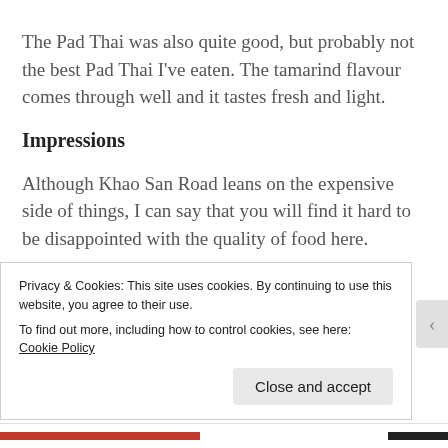The Pad Thai was also quite good, but probably not the best Pad Thai I've eaten. The tamarind flavour comes through well and it tastes fresh and light.
Impressions
Although Khao San Road leans on the expensive side of things, I can say that you will find it hard to be disappointed with the quality of food here.
Privacy & Cookies: This site uses cookies. By continuing to use this website, you agree to their use.
To find out more, including how to control cookies, see here: Cookie Policy